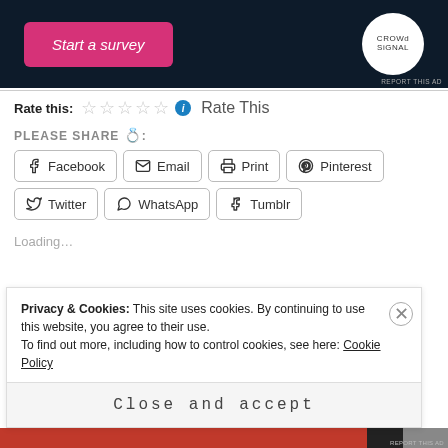[Figure (screenshot): Advertisement banner with dark navy background showing 'Start a survey' pink button and Crowdsignal logo in white circle. 'REPORT THIS AD' text at bottom right.]
Rate this: ☆☆☆☆☆ ℹ Rate This
PLEASE SHARE 💋:
Facebook
Email
Print
Pinterest
Twitter
WhatsApp
Tumblr
Loading...
Privacy & Cookies: This site uses cookies. By continuing to use this website, you agree to their use.
To find out more, including how to control cookies, see here: Cookie Policy
Close and accept